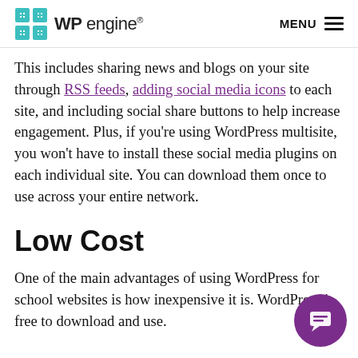WP engine® MENU ≡
This includes sharing news and blogs on your site through RSS feeds, adding social media icons to each site, and including social share buttons to help increase engagement. Plus, if you're using WordPress multisite, you won't have to install these social media plugins on each individual site. You can download them once to use across your entire network.
Low Cost
One of the main advantages of using WordPress for school websites is how inexpensive it is. WordPress is free to download and use.